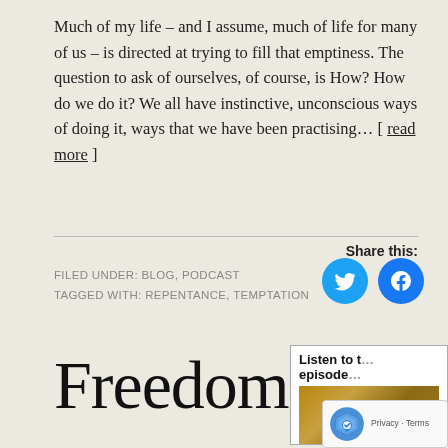Much of my life – and I assume, much of life for many of us – is directed at trying to fill that emptiness. The question to ask of ourselves, of course, is How? How do we do it? We all have instinctive, unconscious ways of doing it, ways that we have been practising… [ read more ]
Share this:
FILED UNDER: BLOG, PODCAST
TAGGED WITH: REPENTANCE, TEMPTATION
Freedom to
[Figure (screenshot): Listen to this episode panel with book cover image]
[Figure (logo): reCAPTCHA badge with Privacy and Terms text]